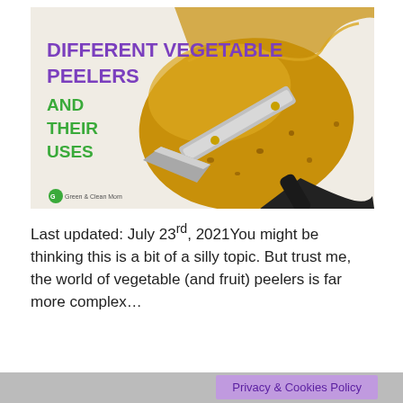[Figure (photo): A photo showing a vegetable peeler peeling the skin off a large yellow-brown potato. The image has text overlay: 'DIFFERENT VEGETABLE PEELERS' in bold purple and 'AND THEIR USES' in bold green. A small 'Green & Clean Mom' logo appears at the bottom left of the image.]
Last updated: July 23rd, 2021You might be thinking this is a bit of a silly topic. But trust me, the world of vegetable (and fruit) peelers is far more complex…
Privacy & Cookies Policy